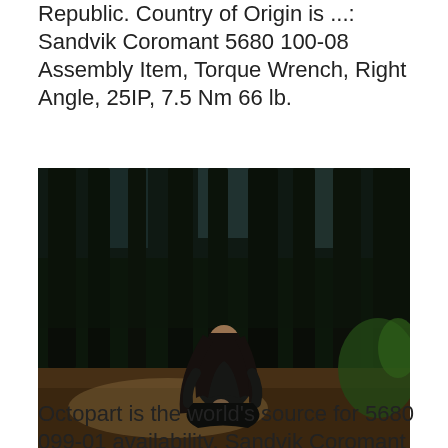Republic. Country of Origin is ...: Sandvik Coromant 5680 100-08 Assembly Item, Torque Wrench, Right Angle, 25IP, 7.5 Nm 66 lb.
[Figure (photo): A person with long dark hair sitting cross-legged on the forest floor among tall trees, looking down at something in their hands. Sunlight filters through the dark conifer forest.]
Octopart is the world's source for 5680 099-01 availability, Sandvik Coromant 5780097 T...